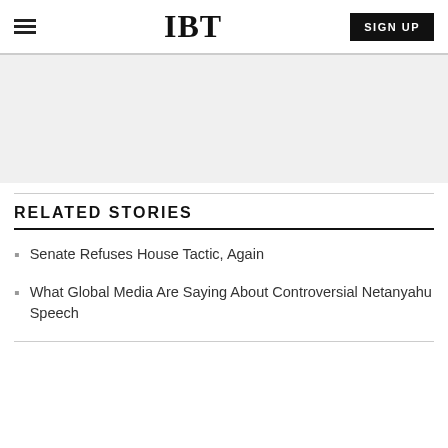IBT | SIGN UP
[Figure (other): Gray advertisement/banner placeholder area]
RELATED STORIES
Senate Refuses House Tactic, Again
What Global Media Are Saying About Controversial Netanyahu Speech